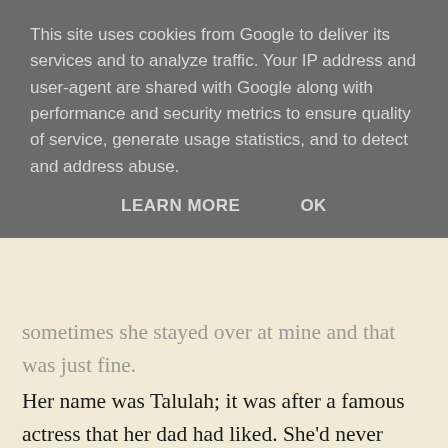sometimes she stayed over at mine and that was just fine.
Her name was Talulah; it was after a famous actress that her dad had liked. She'd never been able to live it down, she said, so now she didn't try.
I didn't know what that meant, and so I shrugged and said how I liked the name and it was different.
If I'm being honest, it was sometimes a little crazy with her. Mostly in a good way, I thought at the time. She'd bring stuff to eat, stuff she'd cook in my kitchen and serve up to me like she was my mam, chilli with chocolate and
[Figure (screenshot): Cookie consent overlay banner from Google with gray background, displaying text about cookies and two buttons: LEARN MORE and OK]